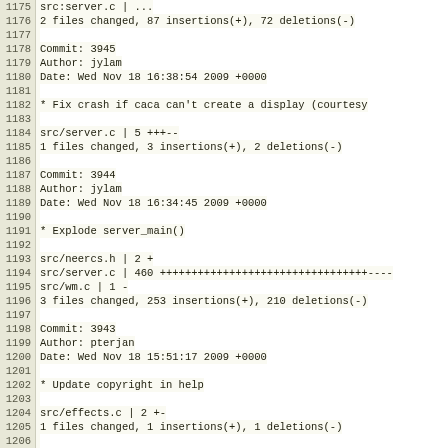Code/log view showing git commit history lines 1175-1208
1175: src:server.c | ...
1176: 2 files changed, 87 insertions(+), 72 deletions(-)
1177: (blank)
1178: Commit: 3945
1179: Author: jylam
1180: Date:   Wed Nov 18 16:38:54 2009 +0000
1181: (blank)
1182:     * Fix crash if caca can't create a display (courtesy
1183: (blank)
1184: src/server.c |    5 +++--
1185: 1 files changed, 3 insertions(+), 2 deletions(-)
1186: (blank)
1187: Commit: 3944
1188: Author: jylam
1189: Date:   Wed Nov 18 16:34:45 2009 +0000
1190: (blank)
1191:     * Explode server_main()
1192: (blank)
1193: src/neercs.h |    2 +
1194: src/server.c |  460 +++++++++++++++++++++++++++++++++----
1195: src/wm.c     |    1 -
1196: 3 files changed, 253 insertions(+), 210 deletions(-)
1197: (blank)
1198: Commit: 3943
1199: Author: pterjan
1200: Date:   Wed Nov 18 15:51:17 2009 +0000
1201: (blank)
1202:     * Update copyright in help
1203: (blank)
1204: src/effects.c |    2 +-
1205: 1 files changed, 1 insertions(+), 1 deletions(-)
1206: (blank)
1207: Commit: 3942
1208: Author: pterjan